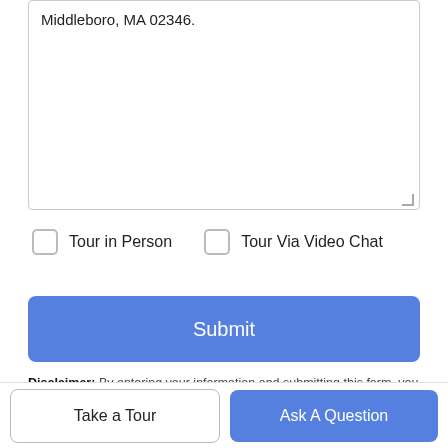Middleboro, MA 02346.
Tour in Person   Tour Via Video Chat
Submit
Disclaimer: By entering your information and submitting this form, you agree to our Terms of Use and Privacy Policy and that you may be contacted by phone, text message and email about your inquiry.
The property listing data and information set forth herein were provided to MLS Property Information Network, Inc. from third party sources, including sellers, lessors and public records, and
Take a Tour
Ask A Question